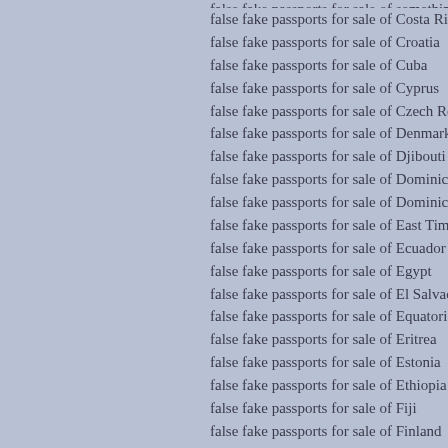false fake passports for sale of Costa Rica
false fake passports for sale of Croatia
false fake passports for sale of Cuba
false fake passports for sale of Cyprus
false fake passports for sale of Czech Republic
false fake passports for sale of Denmark
false fake passports for sale of Djibouti
false fake passports for sale of Dominica
false fake passports for sale of Dominican Republic
false fake passports for sale of East Timor
false fake passports for sale of Ecuador
false fake passports for sale of Egypt
false fake passports for sale of El Salvador
false fake passports for sale of Equatorial Guinea
false fake passports for sale of Eritrea
false fake passports for sale of Estonia
false fake passports for sale of Ethiopia
false fake passports for sale of Fiji
false fake passports for sale of Finland
false fake passports for sale of France
false fake passports for sale of Gabon
false fake passports for sale of Gambia
false fake passports for sale of Georgia
false fake passports for sale of Germany
false fake passports for sale of Ghana
false fake passports for sale of Greece
false fake passports for sale of Grenada
false fake passports for sale of Guatemala